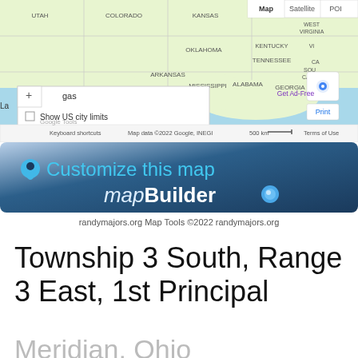[Figure (map): Google Maps screenshot showing the United States with state labels including Utah, Colorado, Kansas, Missouri, West Virginia, Kentucky, Oklahoma, Tennessee, Arkansas, Mississippi, Alabama, Georgia, Louisiana, South Carolina, and city label Houston. Map controls visible including +/- zoom, layer toggle dropdown showing 'Show US city limits', 'Show county lines', 'Show Sec Twn Rng labels' options. Map/Satellite/Poi tabs at top right, Print button, Get Ad-Free link. Google logo and attribution bar at bottom reading 'Keyboard shortcuts | Map data ©2022 Google, INEGI | 500 km | Terms of Use'.]
[Figure (infographic): mapBuilder promotional banner with blue gradient background. Location pin icon and 'Customize this map' text in cyan. 'mapBuilder' text in white with italic 'map' and bold 'Builder', followed by a blue dot icon.]
randymajors.org Map Tools ©2022 randymajors.org
Township 3 South, Range 3 East, 1st Principal
Meridian, Ohio